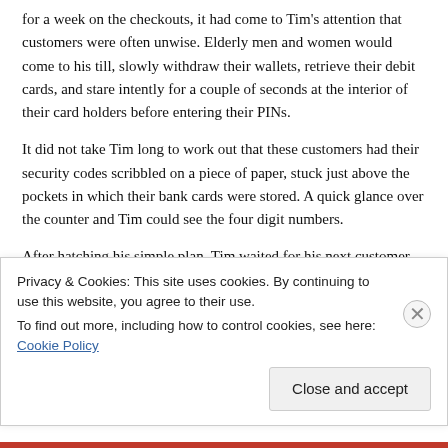for a week on the checkouts, it had come to Tim's attention that customers were often unwise. Elderly men and women would come to his till, slowly withdraw their wallets, retrieve their debit cards, and stare intently for a couple of seconds at the interior of their card holders before entering their PINs.
It did not take Tim long to work out that these customers had their security codes scribbled on a piece of paper, stuck just above the pockets in which their bank cards were stored. A quick glance over the counter and Tim could see the four digit numbers.
After hatching his simple plan, Tim waited for his next customer that had made this error. A man of around seventy years shuffled to his till, offering a basket of groceries to the
Privacy & Cookies: This site uses cookies. By continuing to use this website, you agree to their use.
To find out more, including how to control cookies, see here: Cookie Policy